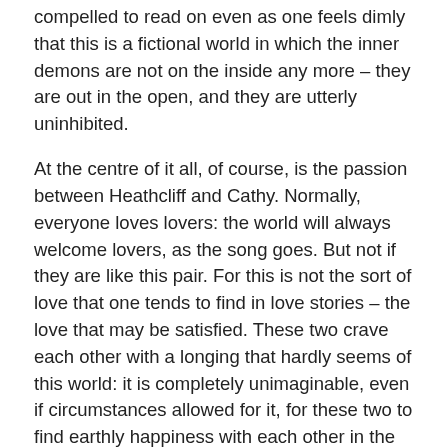compelled to read on even as one feels dimly that this is a fictional world in which the inner demons are not on the inside any more – they are out in the open, and they are utterly uninhibited.
At the centre of it all, of course, is the passion between Heathcliff and Cathy. Normally, everyone loves lovers: the world will always welcome lovers, as the song goes. But not if they are like this pair. For this is not the sort of love that one tends to find in love stories – the love that may be satisfied. These two crave each other with a longing that hardly seems of this world: it is completely unimaginable, even if circumstances allowed for it, for these two to find earthly happiness with each other in the manner of the insipid Jane Eyre or the rough-diamond-with-heart-of-gold Mr Rochester. These two are demonic. They crave each other because they must – because cannot do otherwise.